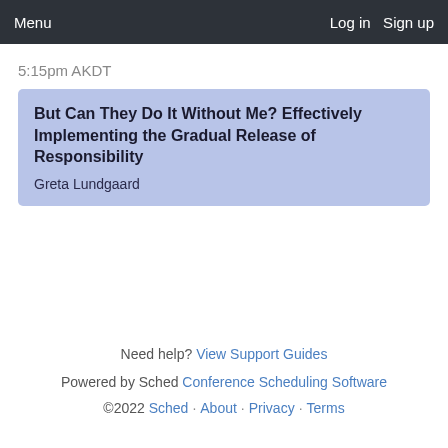Menu   Log in   Sign up
5:15pm AKDT
But Can They Do It Without Me? Effectively Implementing the Gradual Release of Responsibility
Greta Lundgaard
Need help? View Support Guides
Powered by Sched Conference Scheduling Software
©2022 Sched · About · Privacy · Terms